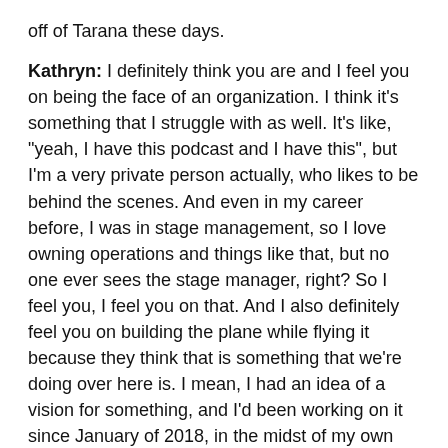off of Tarana these days.
Kathryn: I definitely think you are and I feel you on being the face of an organization. I think it's something that I struggle with as well. It's like, "yeah, I have this podcast and I have this", but I'm a very private person actually, who likes to be behind the scenes. And even in my career before, I was in stage management, so I love owning operations and things like that, but no one ever sees the stage manager, right? So I feel you, I feel you on that. And I also definitely feel you on building the plane while flying it because they think that is something that we're doing over here is. I mean, I had an idea of a vision for something, and I'd been working on it since January of 2018, in the midst of my own experience and it was a part-time thing for so long, I was consulting on the side majorly to fund the organization to get it going. And then earlier this year we got the funding and the corporate sponsorship from Match Group and it took off now. It's like, okay, we're building the plane. We're about to launch the platform in just a few weeks and I don't think people realize that building an organization, or anything, and like, start...